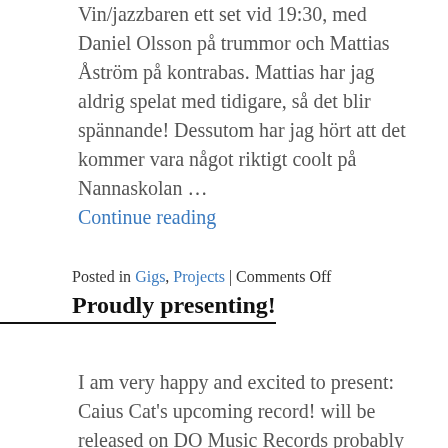Vin/jazzbaren ett set vid 19:30, med Daniel Olsson på trummor och Mattias Åström på kontrabas. Mattias har jag aldrig spelat med tidigare, så det blir spännande! Dessutom har jag hört att det kommer vara något riktigt coolt på Nannaskolan …
Continue reading
Posted in Gigs, Projects | Comments Off
Proudly presenting!
I am very happy and excited to present: Caius Cat's upcoming record! will be released on DO Music Records probably already